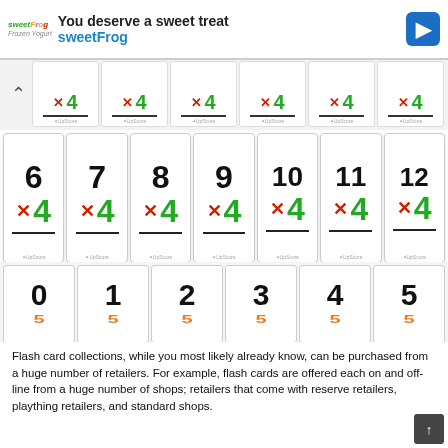[Figure (other): Advertisement banner for sweetFrog frozen yogurt with logo, tagline 'You deserve a sweet treat', brand name in teal, and navigation arrow icon]
[Figure (other): Flash cards showing multiplication by 4: partial top row with cards showing x4, then full row with 6×4, 7×4, 8×4, 9×4, 10×4, 11×4, 12×4, then partial bottom row with cards 0-5 showing x5 in orange]
Flash card collections, while you most likely already know, can be purchased from a huge number of retailers. For example, flash cards are offered each on and off-line from a huge number of shops; retailers that come with reserve retailers, plaything retailers, and standard shops.